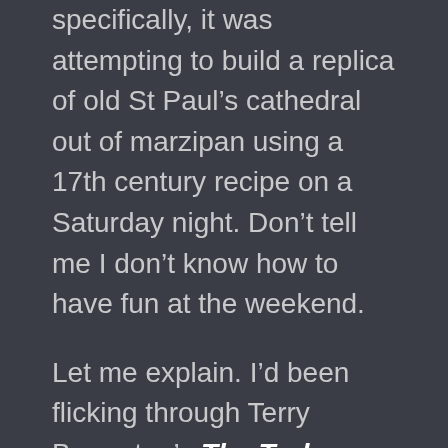specifically, it was attempting to build a replica of old St Paul’s cathedral out of marzipan using a 17th century recipe on a Saturday night. Don’t tell me I don’t know how to have fun at the weekend.
Let me explain. I’d been flicking through Terry Breverton’s The Tudor Kitchen and had been really intrigued by a whole chapter on Tudor sweets and banqueting. During the 16th and 17th centuries, banqueting guests would enjoy a feast of predominately savoury dishes served all together. After enjoying this meal of many dishes and side dishes, they would then move to another room where a second meal – the banquet – waited for them made up exclusively